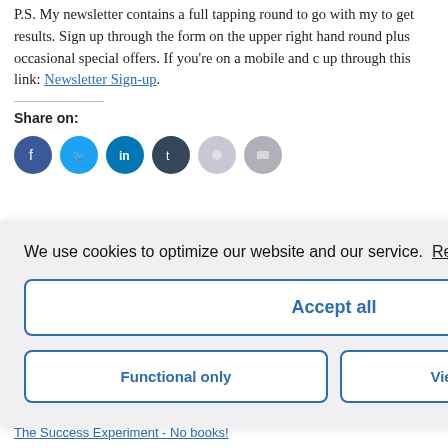P.S. My newsletter contains a full tapping round to go with my to get results. Sign up through the form on the upper right hand round plus occasional special offers. If you're on a mobile and up through this link: Newsletter Sign-up.
Share on:
[Figure (infographic): Row of 6 circular social share buttons: Facebook (dark blue), Twitter (light blue), LinkedIn (medium blue), Tumblr (dark navy), Reddit (light gray-blue), Print (gray)]
We use cookies to optimize our website and our service. Read more - Impressum
Accept all
Functional only
View preferences
The Success Experiment - No books!